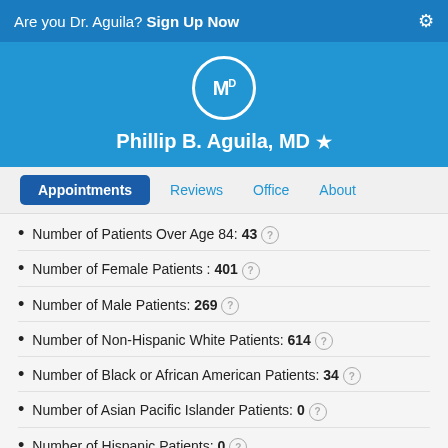Are you Dr. Aguila? Sign Up Now
Phillip B. Aguila, MD
Appointments | Reviews | Office | About
Number of Patients Over Age 84: 43
Number of Female Patients : 401
Number of Male Patients: 269
Number of Non-Hispanic White Patients: 614
Number of Black or African American Patients: 34
Number of Asian Pacific Islander Patients: 0
Number of Hispanic Patients: 0
Number of American Indian/Alaska Native Patients: 0
Number of Patients with Race Not Elsewhere